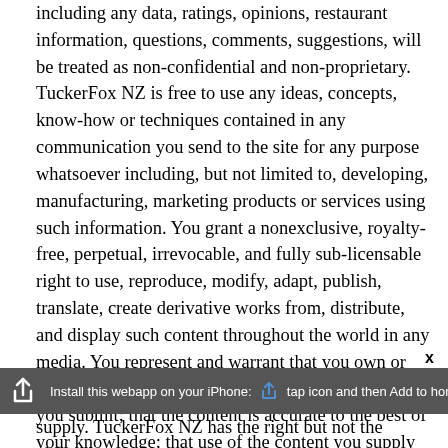including any data, ratings, opinions, restaurant information, questions, comments, suggestions, will be treated as non-confidential and non-proprietary. TuckerFox NZ is free to use any ideas, concepts, know-how or techniques contained in any communication you send to the site for any purpose whatsoever including, but not limited to, developing, manufacturing, marketing products or services using such information. You grant a nonexclusive, royalty-free, perpetual, irrevocable, and fully sub-licensable right to use, reproduce, modify, adapt, publish, translate, create derivative works from, distribute, and display such content throughout the world in any media. You represent and warrant that you own or otherwise control all of the rights to the content that you submit; that the content is accurate to the best of your knowledge; that use of the content you supply does not violate this policy and will not cause injury to any person or
supply. TuckerFox NZ has the right but not the obligation to